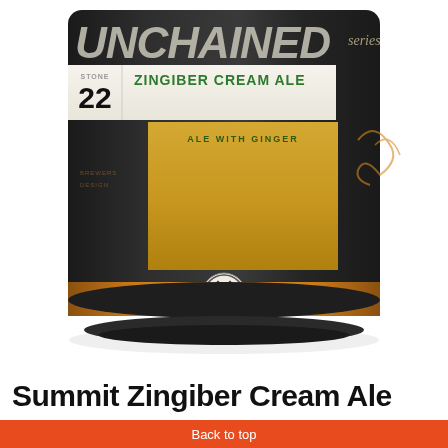[Figure (photo): Close-up photo of a Summit Brewing Unchained Series #22 Zingiber Cream Ale can. The can is dark/black with gold and white label elements. The label reads 'UNCHAINED series' at top, then a white band showing '#22' and 'ZINGIBER CREAM ALE' in green text, followed by a gold section reading 'ALE WITH GINGER'. The bottom of the can has a bronze/gold stripe with text 'BREWERS ARE FREE TO EXPLORE' and the Summit Brewing logo in the center.]
Summit Zingiber Cream Ale
Back to top